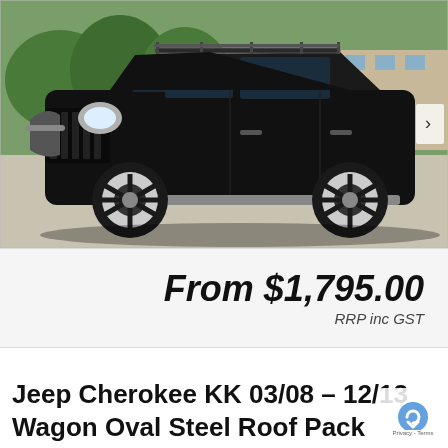[Figure (photo): Black Jeep Cherokee KK SUV parked in a parking lot, with roof rack visible on top, photographed from a three-quarter front angle. Trees and buildings visible in background. Navigation arrow on right side.]
From $1,795.00
RRP inc GST
Jeep Cherokee KK 03/08 – 12/13 Wagon Oval Steel Roof Pack